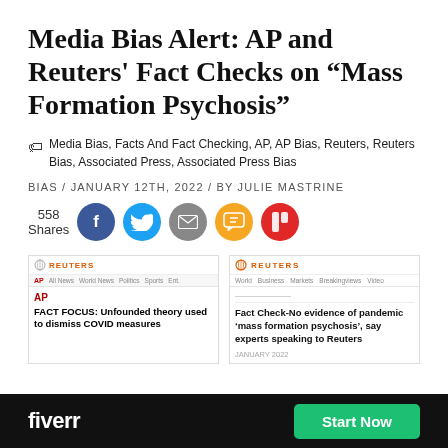Media Bias Alert: AP and Reuters' Fact Checks on “Mass Formation Psychosis”
Media Bias, Facts And Fact Checking, AP, AP Bias, Reuters, Reuters Bias, Associated Press, Associated Press Bias
BIAS / JANUARY 12TH, 2022 / BY JULIE MASTRINE
558 Shares
[Figure (screenshot): Screenshot of AP article: FACT FOCUS: Unfounded theory used to dismiss COVID measures]
[Figure (screenshot): Screenshot of Reuters article: Fact Check-No evidence of pandemic ‘mass formation psychosis’, say experts speaking to Reuters]
[Figure (logo): Fiverr advertisement bar with Start Now button]